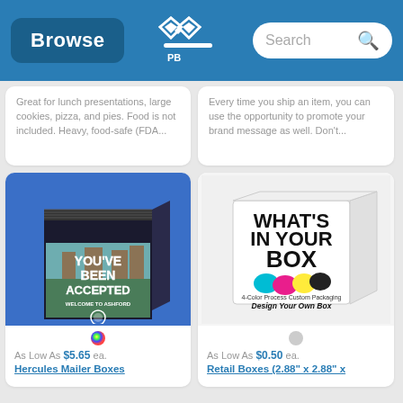Browse | [Logo] | Search
Great for lunch presentations, large cookies, pizza, and pies. Food is not included. Heavy, food-safe (FDA...
Every time you ship an item, you can use the opportunity to promote your brand message as well. Don't...
[Figure (photo): Hercules Mailer Box with 'YOU'VE BEEN ACCEPTED WELCOME TO ASHFORD' printed on it, shown on blue background]
As Low As $5.65 ea.
Hercules Mailer Boxes
[Figure (photo): White retail box printed with 'WHAT'S IN YOUR BOX' and CMYK color splats, '4-Color Process Custom Packaging, Design Your Own Box']
As Low As $0.50 ea.
Retail Boxes (2.88" x 2.88" x